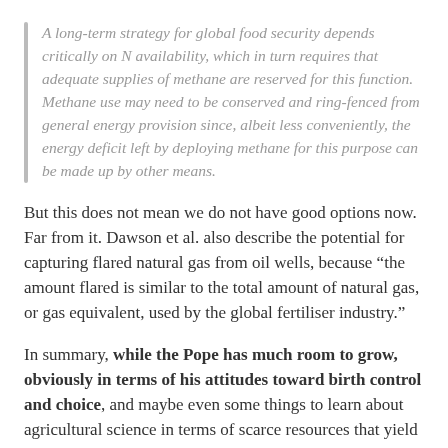A long-term strategy for global food security depends critically on N availability, which in turn requires that adequate supplies of methane are reserved for this function. Methane use may need to be conserved and ring-fenced from general energy provision since, albeit less conveniently, the energy deficit left by deploying methane for this purpose can be made up by other means.
But this does not mean we do not have good options now. Far from it. Dawson et al. also describe the potential for capturing flared natural gas from oil wells, because “the amount flared is similar to the total amount of natural gas, or gas equivalent, used by the global fertiliser industry.”
In summary, while the Pope has much room to grow, obviously in terms of his attitudes toward birth control and choice, and maybe even some things to learn about agricultural science in terms of scarce resources that yield N and P for modern fertilizer, he is absolutely correct that we must place a high